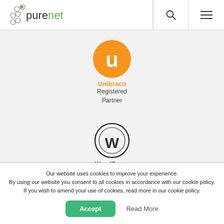[Figure (logo): Purenet logo with green atom-like icons and 'purenet' text]
[Figure (logo): Umbraco Registered Partner badge: orange circle with white U, orange 'Umbraco' text, dark 'Registered Partner' text]
[Figure (logo): WordPress logo: dark circle with W icon, blue 'WordPress' text partially visible]
Our website uses cookies to improve your experience. By using our website you consent to all cookies in accordance with our cookie policy. If you wish to amend your use of cookies, read more in our cookie policy.
Accept
Read More